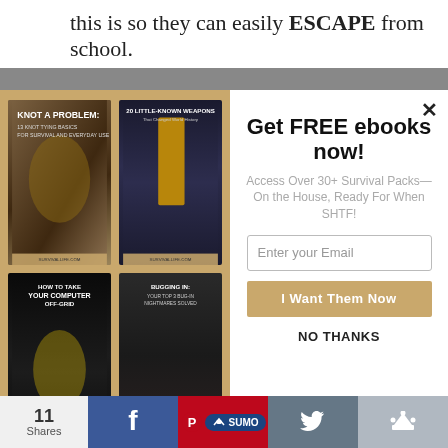this is so they can easily ESCAPE from school.
[Figure (illustration): Modal popup showing four ebook covers (Knot a Problem, 20 Little-Known Weapons That Changed World History, How to Take Your Computer Off-Grid, Bugging In: Your Top 3 Bug-In Nightmares Solved) on a tan background on the left, and a signup panel on the right with title 'Get FREE ebooks now!', description 'Access Over 30+ Survival Packs—On the House, Ready For When SHTF!', email input field, 'I Want Them Now' button, and 'NO THANKS' link.]
11 Shares
[Figure (infographic): Social sharing bar at bottom with share count 11, Facebook, Pinterest/SUMO, Twitter/email, and crown icons]